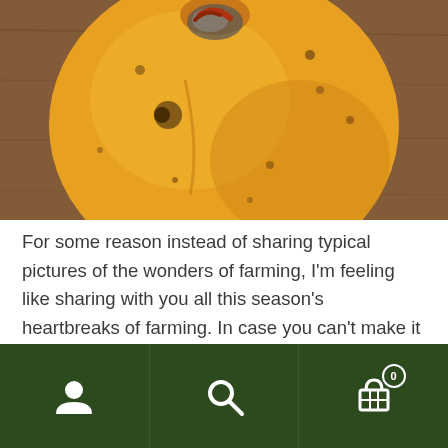[Figure (photo): Close-up photograph of a yellow-orange tomato with spots and mold on a wooden surface]
For some reason instead of sharing typical pictures of the wonders of farming, I'm feeling like sharing with you all this season's heartbreaks of farming. In case you can't make it out, that's a cucumber covered in mold still on the vine and a celeriac (which LOVES water) completely rotted in place.The fields are finally drying out but the receding
Navigation bar with user icon, search icon, and cart icon (0 items)